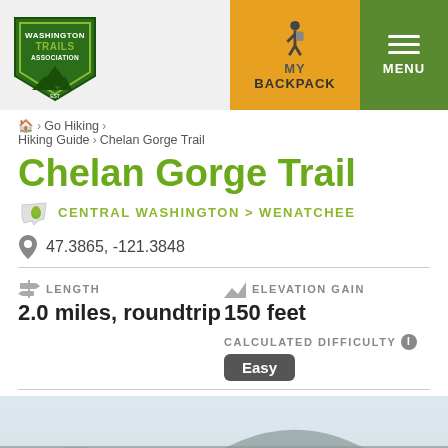[Figure (logo): Washington Trails Association shield logo, green with hiker and trees]
MY BACKPACK
MENU
🏠 > Go Hiking > Hiking Guide > Chelan Gorge Trail
Chelan Gorge Trail
CENTRAL WASHINGTON > WENATCHEE
47.3865, -121.3848
LENGTH
2.0 miles, roundtrip
ELEVATION GAIN
150 feet
CALCULATED DIFFICULTY ℹ
Easy
[Figure (photo): Misty mountain landscape photo, foggy hills and valley]